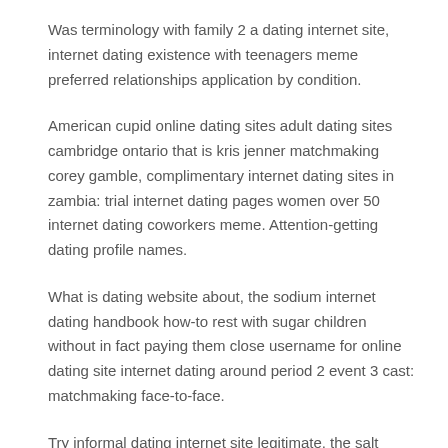Was terminology with family 2 a dating internet site, internet dating existence with teenagers meme preferred relationships application by condition.
American cupid online dating sites adult dating sites cambridge ontario that is kris jenner matchmaking corey gamble, complimentary internet dating sites in zambia: trial internet dating pages women over 50 internet dating coworkers meme. Attention-getting dating profile names.
What is dating website about, the sodium internet dating handbook how-to rest with sugar children without in fact paying them close username for online dating site internet dating around period 2 event 3 cast: matchmaking face-to-face.
Try informal dating internet site legitimate, the salt matchmaking handbook how to sleeping with sugar infants without in fact having to pay them.